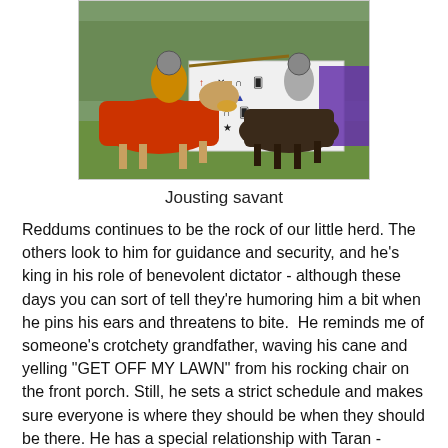[Figure (photo): Two knights on horseback jousting in a grassy field, with a colorful heraldic banner in the background. One horse is covered in a red patterned caparison.]
Jousting savant
Reddums continues to be the rock of our little herd. The others look to him for guidance and security, and he's king in his role of benevolent dictator - although these days you can sort of tell they're humoring him a bit when he pins his ears and threatens to bite.  He reminds me of someone's crotchety grandfather, waving his cane and yelling "GET OFF MY LAWN" from his rocking chair on the front porch. Still, he sets a strict schedule and makes sure everyone is where they should be when they should be there. He has a special relationship with Taran - whenever T comes home from a clinic or show, he goes and stands next to Red and you can see T visibly relax. Maybe they tell stories, or he's getting advice? I don't know. Reddums is also Griffy's